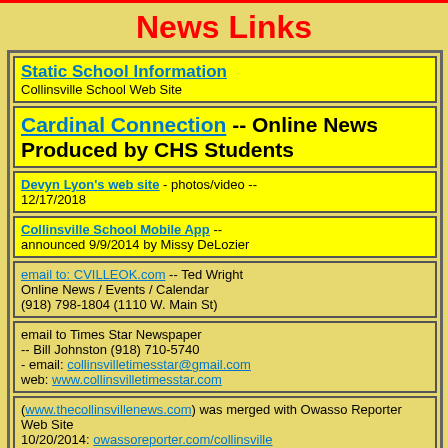News Links
Static School Information -- Collinsville School Web Site
Cardinal Connection -- Online News Produced by CHS Students
Devyn Lyon's web site - photos/video -- 12/17/2018
Collinsville School Mobile App -- announced 9/9/2014 by Missy DeLozier
email to: CVILLEOK.com -- Ted Wright Online News / Events / Calendar (918) 798-1804 (1110 W. Main St)
email to Times Star Newspaper -- Bill Johnston (918) 710-5740 - email: collinsvilletimesstar@gmail.com web: www.collinsvilletimesstar.com
(www.thecollinsvillenews.com) was merged with Owasso Reporter Web Site 10/20/2014: owassoreporter.com/collinsville (Sports) CollinsvilleWorld.com
Inside Collinsville -- Started 2019
Tulsa World (Newspaper)